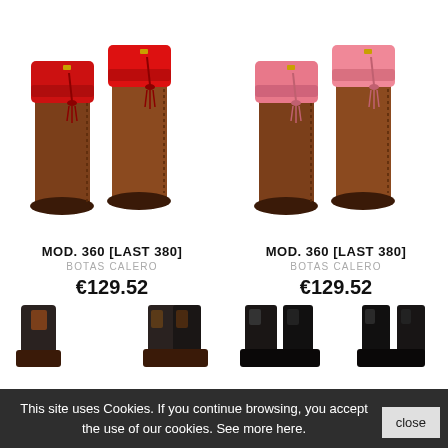[Figure (photo): Two brown leather knee-high boots with red cuff/top and red tassel detail (MOD. 360 [LAST 380])]
MOD. 360 [LAST 380]
BOTAS CALERO
€129.52
[Figure (photo): Two brown leather knee-high boots with pink/coral cuff/top and pink tassel detail (MOD. 360 [LAST 380])]
MOD. 360 [LAST 380]
BOTAS CALERO
€129.52
[Figure (photo): Partial view of dark boots (bottom row, left pair)]
[Figure (photo): Partial view of dark boots (bottom row, right pair)]
This site uses Cookies. If you continue browsing, you accept the use of our cookies. See more here.
close